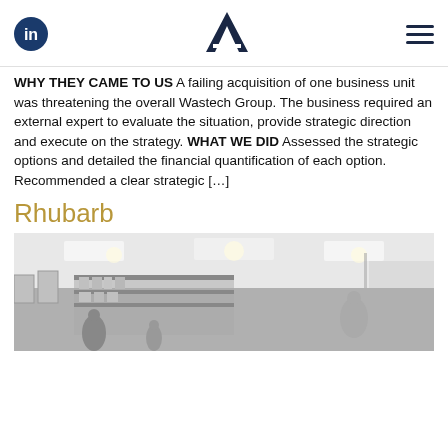LinkedIn logo | Brand logo | Hamburger menu
WHY THEY CAME TO US A failing acquisition of one business unit was threatening the overall Wastech Group. The business required an external expert to evaluate the situation, provide strategic direction and execute on the strategy. WHAT WE DID Assessed the strategic options and detailed the financial quantification of each option. Recommended a clear strategic […]
Rhubarb
[Figure (photo): Black and white interior photo of a retail store with ceiling lights, display shelves, and shoppers visible in the background.]